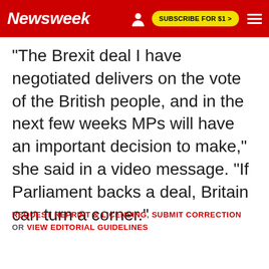Newsweek | SUBSCRIBE FOR $1 >
"The Brexit deal I have negotiated delivers on the vote of the British people, and in the next few weeks MPs will have an important decision to make," she said in a video message. "If Parliament backs a deal, Britain can turn a corner."
REQUEST REPRINT & LICENSING, SUBMIT CORRECTION OR VIEW EDITORIAL GUIDELINES